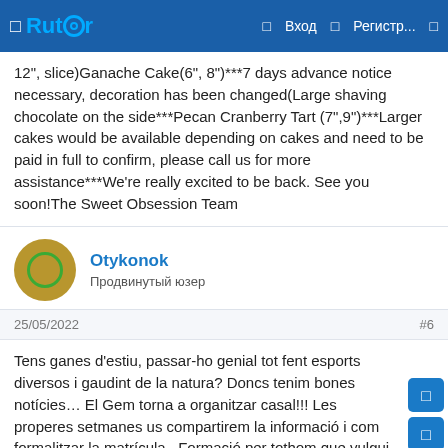Rutor — Вход — Регистр...
12", slice)Ganache Cake(6", 8")***7 days advance notice necessary, decoration has been changed(Large shaving chocolate on the side***Pecan Cranberry Tart (7",9")***Larger cakes would be available depending on cakes and need to be paid in full to confirm, please call us for more assistance***We're really excited to be back. See you soon!The Sweet Obsession Team
Otykonok
Продвинутый юзер
25/05/2022
#6
Tens ganes d'estiu, passar-ho genial tot fent esports diversos i gaudint de la natura? Doncs tenim bones notícies… El Gem torna a organitzar casal!!! Les properes setmanes us compartirem la informació i com formalitzar la matrícula. Formació per tothom que vulgui iniciar-se en el món vertical, on aprendrem a realitzar la maniobra del ràpel per poder ser